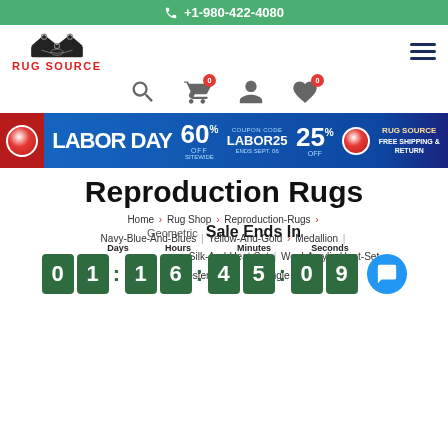+1-980-422-4080
[Figure (logo): Rug Source logo with crown icon and red text]
[Figure (infographic): Labor Day sale banner: 60% off sitewide, coupon code LABOR25 for 25% off, free shipping and return]
Reproduction Rugs
Home > Rug Shop > Reproduction-Rugs > Navy-Blue-And-Blues | Yellow-And-Gold > Medallion | Geometric > Silk-And-Heat-Set | Wool-Acrylic-Heat-Set | Polyester-Jute > Rectangle
Sale Ends In
Days  Hours  Minutes  Seconds  01 : 16 : 45 : 09